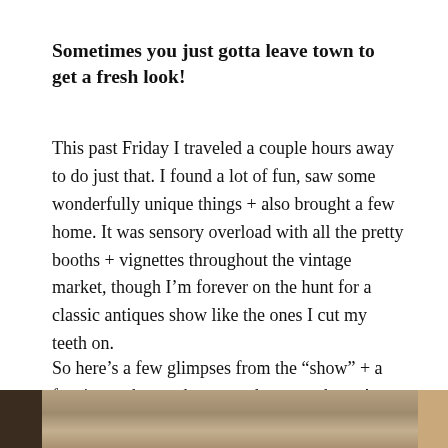Sometimes you just gotta leave town to get a fresh look!
This past Friday I traveled a couple hours away to do just that. I found a lot of fun, saw some wonderfully unique things + also brought a few home. It was sensory overload with all the pretty booths + vignettes throughout the vintage market, though I'm forever on the hunt for a classic antiques show like the ones I cut my teeth on.
So here's a few glimpses from the “show” + a few items that spoke to me that came home!
[Figure (photo): Partial view of a photo at the bottom of the page showing a vintage/antique market scene with muted brown and tan tones, partially cropped]